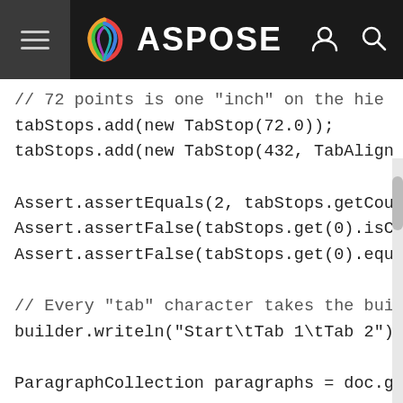ASPOSE navigation bar with hamburger menu, Aspose logo, user icon, and search icon
[Figure (screenshot): Code snippet showing Java/programming code with tab stop operations, Assert statements, builder.writeln, ParagraphCollection usage on a white background with Aspose navigation bar at top]